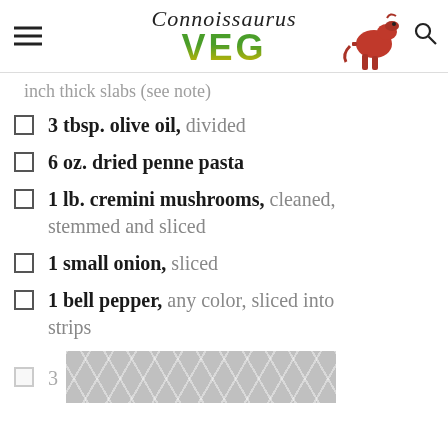Connoissaurus VEG
inch thick slabs (see note)
3 tbsp. olive oil, divided
6 oz. dried penne pasta
1 lb. cremini mushrooms, cleaned, stemmed and sliced
1 small onion, sliced
1 bell pepper, any color, sliced into strips
3 [image placeholder]